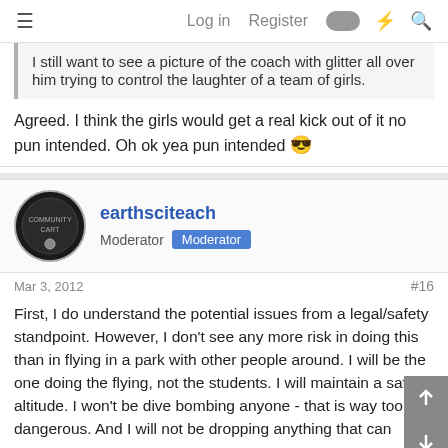≡  Log in  Register
I still want to see a picture of the coach with glitter all over him trying to control the laughter of a team of girls.
Agreed. I think the girls would get a real kick out of it no pun intended. Oh ok yea pun intended 😎
earthsciteach
Moderator  Moderator
Mar 3, 2012  #16
First, I do understand the potential issues from a legal/safety standpoint. However, I don't see any more risk in doing this than in flying in a park with other people around. I will be the one doing the flying, not the students. I will maintain a safe altitude. I won't be dive bombing anyone - that is way too dangerous. And I will not be dropping anything that can cause